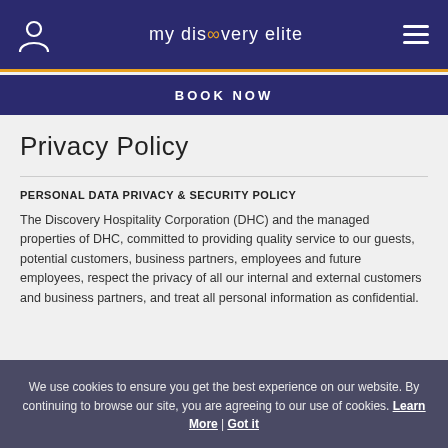my discovery elite
BOOK NOW
Privacy Policy
PERSONAL DATA PRIVACY & SECURITY POLICY
The Discovery Hospitality Corporation (DHC) and the managed properties of DHC, committed to providing quality service to our guests, potential customers, business partners, employees and future employees, respect the privacy of all our internal and external customers and business partners, and treat all personal information as confidential.
We use cookies to ensure you get the best experience on our website. By continuing to browse our site, you are agreeing to our use of cookies. Learn More | Got it